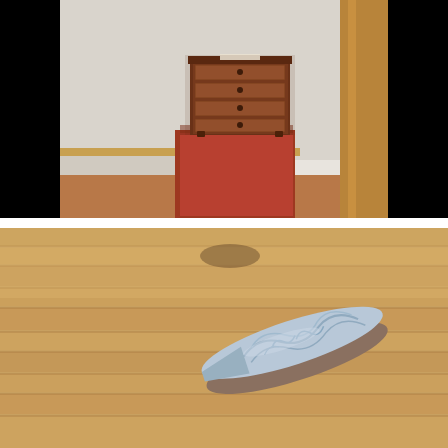[Figure (photo): A small antique wooden chest of drawers with four drawers and round knob handles, displayed on a red/terracotta colored pedestal in a museum or gallery setting. The background shows white walls with wooden trim and baseboards. The scene is photographed with black bars on the left and right sides.]
[Figure (photo): A close-up photograph of a pale blue ceramic or porcelain object with embossed floral/scroll decorative pattern, shaped like a rounded wedge or half-oval, resting on a wooden plank floor. The wood floor shows natural grain and texture.]